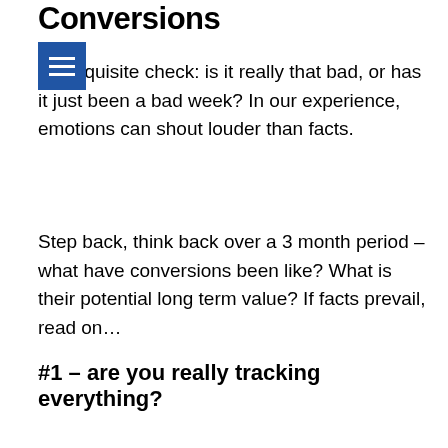Conversions
[Figure (other): Blue hamburger menu icon with three white horizontal lines on a blue square background]
Prerequisite check: is it really that bad, or has it just been a bad week? In our experience, emotions can shout louder than facts.
Step back, think back over a 3 month period – what have conversions been like? What is their potential long term value? If facts prevail, read on…
#1 – are you really tracking everything?